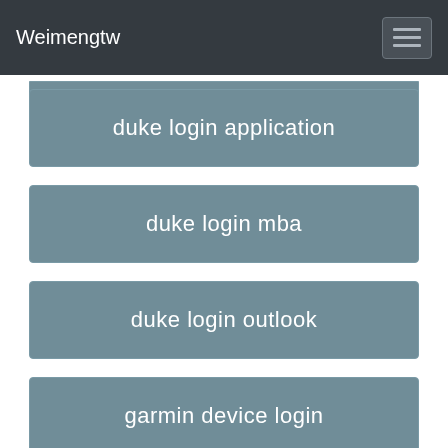Weimengtw
duke login application
duke login mba
duke login outlook
garmin device login
duke work email login